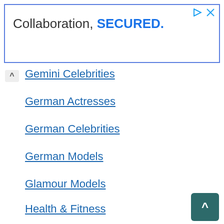[Figure (other): Advertisement banner with blue border. Text reads 'Collaboration, SECURED.' with SECURED in bold blue. Top right has a play icon and X icon in cyan/teal color.]
Gemini Celebrities
German Actresses
German Celebrities
German Models
Glamour Models
Health & Fitness
Indian Celebrities
Indian Models
Inspirations
Instagram Models
Israeli Actresses